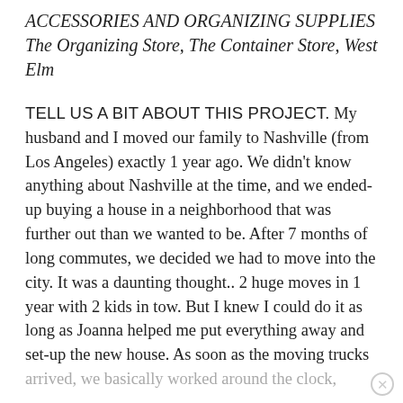ACCESSORIES AND ORGANIZING SUPPLIES The Organizing Store, The Container Store, West Elm
TELL US A BIT ABOUT THIS PROJECT. My husband and I moved our family to Nashville (from Los Angeles) exactly 1 year ago. We didn't know anything about Nashville at the time, and we ended-up buying a house in a neighborhood that was further out than we wanted to be. After 7 months of long commutes, we decided we had to move into the city. It was a daunting thought.. 2 huge moves in 1 year with 2 kids in tow. But I knew I could do it as long as Joanna helped me put everything away and set-up the new house. As soon as the moving trucks arrived, we basically worked around the clock,